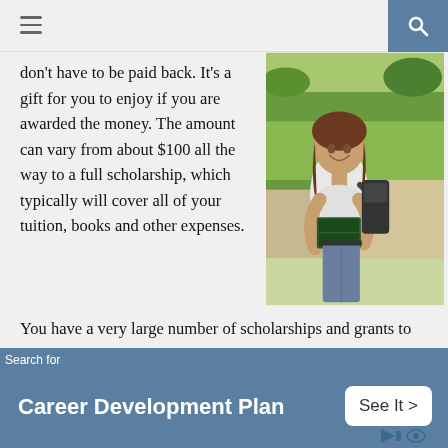don't have to be paid back. It's a gift for you to enjoy if you are awarded the money. The amount can vary from about $100 all the way to a full scholarship, which typically will cover all of your tuition, books and other expenses.
[Figure (photo): Young female student smiling, holding books and wearing a backpack, standing outdoors on a campus with green hedges in the background.]
You have a very large number of scholarships and grants to look into. These are given out at the state and national level, by different universities, companies and organizations. If you have a particular affiliation
Search for
Career Development Plan
See It >